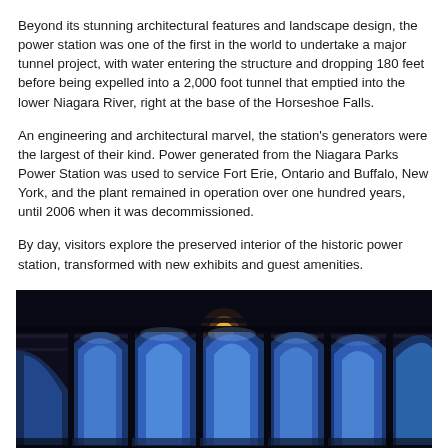Beyond its stunning architectural features and landscape design, the power station was one of the first in the world to undertake a major tunnel project, with water entering the structure and dropping 180 feet before being expelled into a 2,000 foot tunnel that emptied into the lower Niagara River, right at the base of the Horseshoe Falls.
An engineering and architectural marvel, the station's generators were the largest of their kind. Power generated from the Niagara Parks Power Station was used to service Fort Erie, Ontario and Buffalo, New York, and the plant remained in operation over one hundred years, until 2006 when it was decommissioned.
By day, visitors explore the preserved interior of the historic power station, transformed with new exhibits and guest amenities.
[Figure (photo): Dark interior photograph of the Niagara Parks Power Station showing arched stained glass windows illuminated in blue and white light, with dark structural beams and ceiling visible in the foreground.]